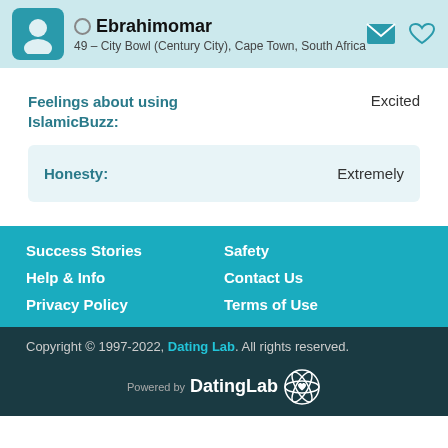Ebrahimomar — 49 – City Bowl (Century City), Cape Town, South Africa
Feelings about using IslamicBuzz: Excited
Honesty: Extremely
Success Stories
Safety
Help & Info
Contact Us
Privacy Policy
Terms of Use
Copyright © 1997-2022, Dating Lab. All rights reserved. Powered by DatingLab